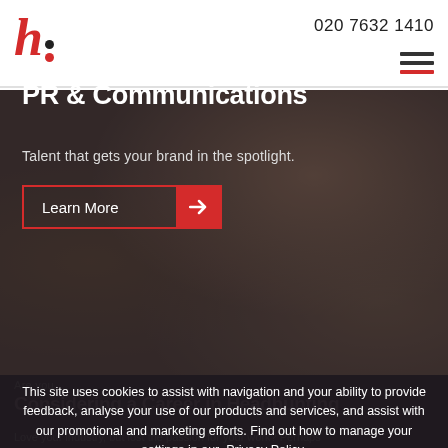[Figure (logo): Harrington Starr logo: red italic 'h' with colon, top dot black, bottom dot red]
020 7632 1410
[Figure (other): Hamburger menu icon: three red/dark horizontal bars]
[Figure (photo): Background photo of people in a meeting/discussion, dark overlay applied]
PR & Communications
Talent that gets your brand in the spotlight.
Learn More →
This site uses cookies to assist with navigation and your ability to provide feedback, analyse your use of our products and services, and assist with our promotional and marketing efforts. Find out how to manage your settings in our Privacy Policy.
I accept
Are you Considering a Career in Headhunting
Love your industry, but lost the passion for your work? Perhaps